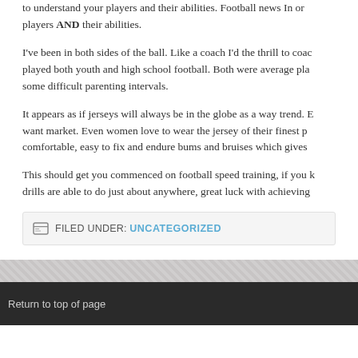to understand your players and their abilities. Football news In or to understand your players AND their abilities.
I've been in both sides of the ball. Like a coach I'd the thrill to coach played both youth and high school football. Both were average pla some difficult parenting intervals.
It appears as if jerseys will always be in the globe as a way trend. E want market. Even women love to wear the jersey of their finest p comfortable, easy to fix and endure bums and bruises which gives
This should get you commenced on football speed training, if you k drills are able to do just about anywhere, great luck with achieving
FILED UNDER: UNCATEGORIZED
Return to top of page